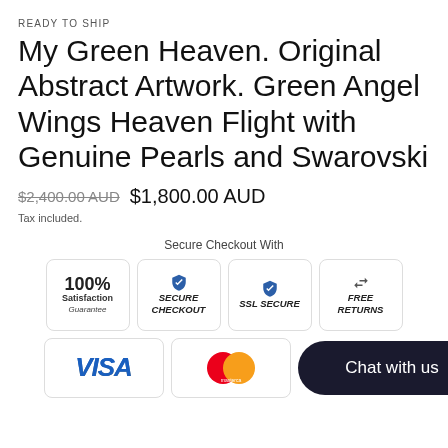READY TO SHIP
My Green Heaven. Original Abstract Artwork. Green Angel Wings Heaven Flight with Genuine Pearls and Swarovski
$2,400.00 AUD  $1,800.00 AUD
Tax included.
Secure Checkout With
[Figure (infographic): Four trust badge icons: 100% Satisfaction Guarantee, Secure Checkout, SSL Secure, Free Returns]
[Figure (infographic): Payment icons: VISA logo, Mastercard logo, and a dark Chat with us button]